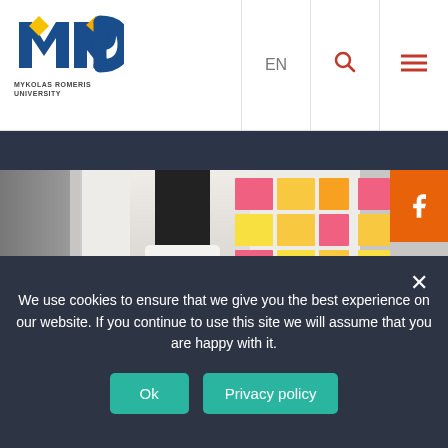MYKOLAS ROMERIS UNIVERSITY — EN navigation, search, menu
[Figure (photo): A woman placing sticky notes (pink, yellow, orange) on a whiteboard during a brainstorming session, with another person partially visible on the left]
We use cookies to ensure that we give you the best experience on our website. If you continue to use this site we will assume that you are happy with it.
Ok   Privacy policy